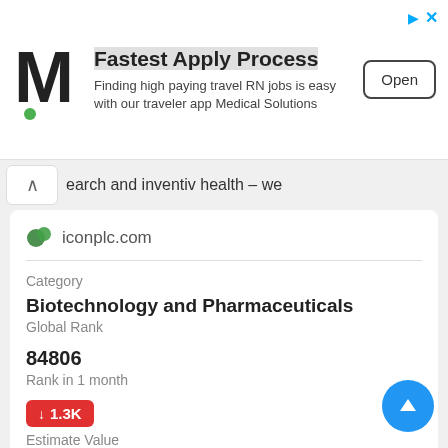[Figure (screenshot): Advertisement banner for Medical Solutions showing M logo, Fastest Apply Process headline, and Open button]
earch and inventiv health – we
iconplc.com
Category
Biotechnology and Pharmaceuticals
Global Rank
84806
Rank in 1 month
↓ 1.3K
Estimate Value
25 884$